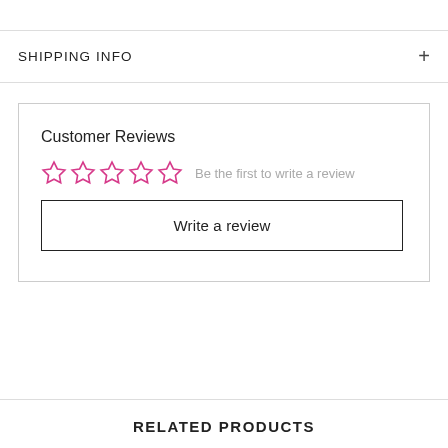SHIPPING INFO
Customer Reviews
Be the first to write a review
Write a review
RELATED PRODUCTS